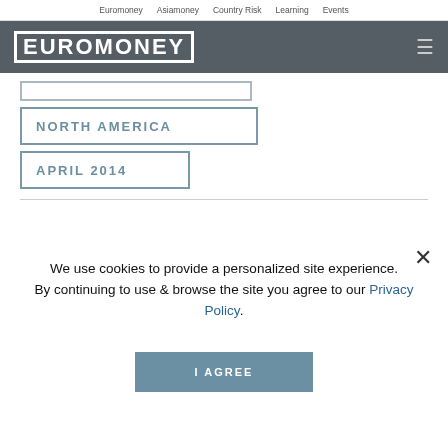Euromoney  Asiamoney  Country Risk  Learning  Events
EUROMONEY
NORTH AMERICA
APRIL 2014
We use cookies to provide a personalized site experience. By continuing to use & browse the site you agree to our Privacy Policy.
I AGREE